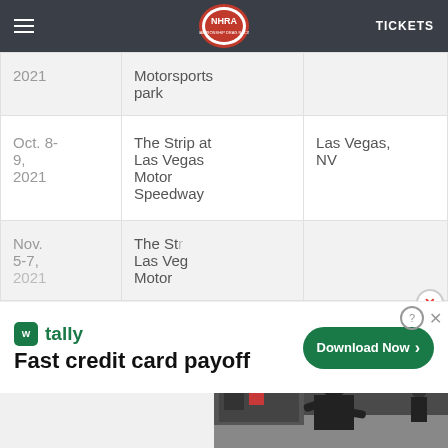NHRA | TICKETS
| Date | Venue | Location |
| --- | --- | --- |
| 2021 | Motorsports park |  |
| Oct. 8-9, 2021 | The Strip at Las Vegas Motor Speedway | Las Vegas, NV |
| Nov. 5-7, 2021 | The Strip at Las Vegas Motor |  |
[Figure (screenshot): Video overlay showing 'A look inside Brownsburg's newest racing business, Precision Built Race' with a photo of a person working in a race shop]
[Figure (screenshot): Advertisement for Tally - 'Fast credit card payoff' with Download Now button]